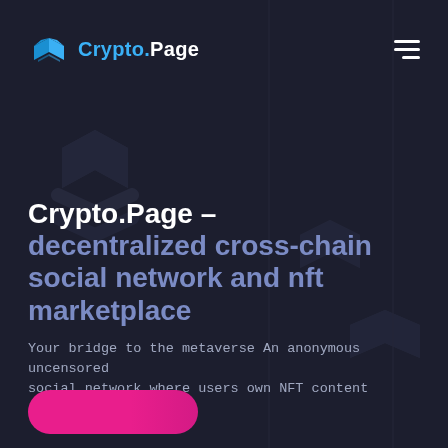[Figure (logo): Crypto.Page logo — blue open book icon with text 'Crypto.Page' where 'Crypto.' is in blue and 'Page' is in white]
Crypto.Page – decentralized cross-chain social network and nft marketplace
Your bridge to the metaverse An anonymous uncensored social network where users own NFT content personally